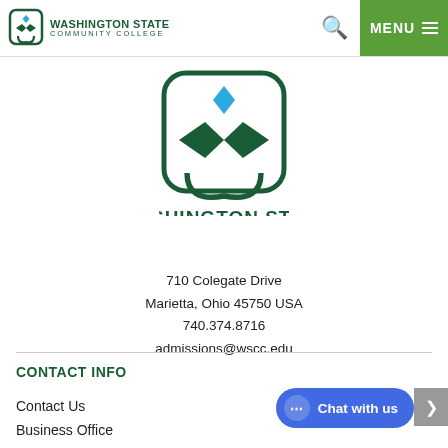Washington State Community College | MENU
[Figure (logo): Washington State Community College logo — rounded square icon with green chevron/wheat symbol and teal diamond above, with bold green text WASHINGTON STATE COMMUNITY COLLEGE]
710 Colegate Drive
Marietta, Ohio 45750 USA
740.374.8716
admissions@wscc.edu
CONTACT INFO
Contact Us
Business Office